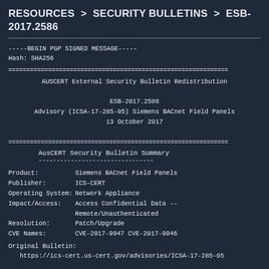RESOURCES > SECURITY BULLETINS > ESB-2017.2586
-----BEGIN PGP SIGNED MESSAGE-----
Hash: SHA256
==============================================================
         AUSCERT External Security Bulletin Redistribution

                        ESB-2017.2586
         Advisory (ICSA-17-285-05) Siemens BACnet Field Panels
                       13 October 2017

==============================================================
AusCERT Security Bulletin Summary
--------------------------------
| Product: | Siemens BACnet Field Panels |
| Publisher: | ICS-CERT |
| Operating System: | Network Appliance |
| Impact/Access: | Access Confidential Data -- Remote/Unauthenticated |
| Resolution: | Patch/Upgrade |
| CVE Names: | CVE-2017-9947 CVE-2017-9946 |
Original Bulletin:
   https://ics-cert.us-cert.gov/advisories/ICSA-17-285-05